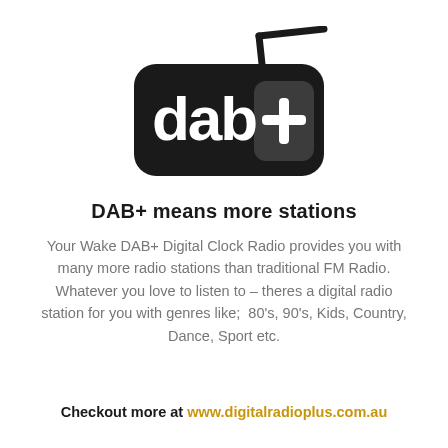[Figure (logo): DAB+ digital radio logo: a stylized portable radio with rounded rectangle body, antenna extending top-right, and 'dab+' text in white on black background]
DAB+ means more stations
Your Wake DAB+ Digital Clock Radio provides you with many more radio stations than traditional FM Radio. Whatever you love to listen to – theres a digital radio station for you with genres like;  80's, 90's, Kids, Country, Dance, Sport etc.
Checkout more at www.digitalradioplus.com.au